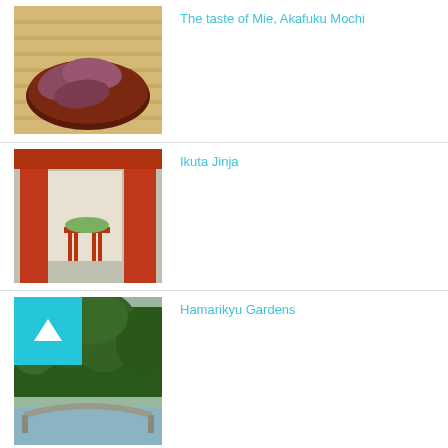[Figure (photo): Photo of Akafuku Mochi — pieces of pink/brown mochi on a dark red lacquer plate against a woven bamboo background]
The taste of Mie, Akafuku Mochi
[Figure (photo): Photo of Ikuta Jinja shrine — red torii gate structure and a small altar stand with offerings in bright sunlight]
Ikuta Jinja
[Figure (photo): Photo of Hamarikyu Gardens — lush green trees and a traditional curved stone bridge over water]
Hamarikyu Gardens